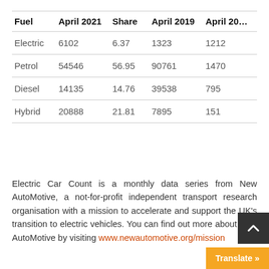| Fuel | April 2021 | Share | April 2019 | April 20… |
| --- | --- | --- | --- | --- |
| Electric | 6102 | 6.37 | 1323 | 1212 |
| Petrol | 54546 | 56.95 | 90761 | 1470 |
| Diesel | 14135 | 14.76 | 39538 | 795 |
| Hybrid | 20888 | 21.81 | 7895 | 151 |
Electric Car Count is a monthly data series from New AutoMotive, a not-for-profit independent transport research organisation with a mission to accelerate and support the UK's transition to electric vehicles. You can find out more about New AutoMotive by visiting www.newautomotive.org/mission